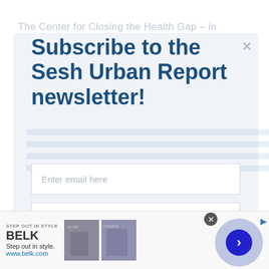The Center for Closing the Health Gap – in
Subscribe to the Sesh Urban Report newsletter!
Enter email here
Enter first name
Subscribe
And don't worry, we hate spam too! You can unsubscribe at
[Figure (screenshot): Advertisement banner for BELK showing 'STEP OUT IN STYLE', 'BELK', 'Step out in style.', 'www.belk.com', two clothing images, a circular navigation arrow, and a close button.]